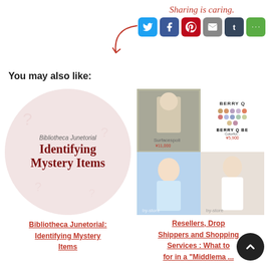[Figure (infographic): Sharing is caring social media icons: Twitter, Facebook, Pinterest, Email, Tumblr, More]
You may also like:
[Figure (illustration): Circular image with text: Bibliotheca Junetorial Identifying Mystery Items]
Bibliotheca Junetorial: Identifying Mystery Items
[Figure (screenshot): Grid of product images showing Berry Q and other bjd items from a shopping/reseller service]
Resellers, Drop Shippers and Shopping Services : What to look for in a "Middleman" When Buying from